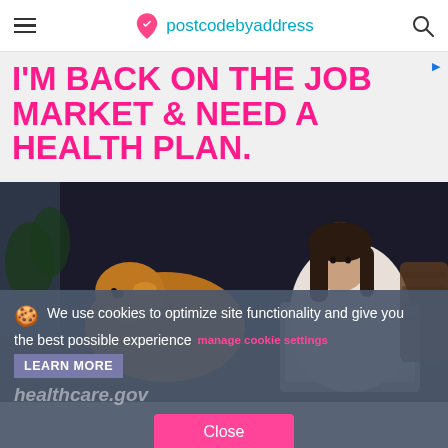postcodebyaddress
[Figure (screenshot): Advertisement banner with bold pink text on light grey background reading: I'M BACK ON THE JOB MARKET & NEED A HEALTH PLAN.]
[Figure (photo): Woman with dark hair working on a laptop at a table, with a golden dog sitting beside her, in a dimly lit home setting]
We use cookies to optimize site functionality and give you the best possible experience manage cookie settings LEARN MORE
healthcare.gov
Close